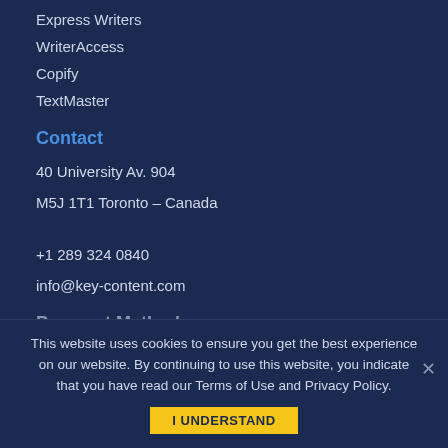Express Writers
WriterAccess
Copify
TextMaster
Contact
40 University Av. 904
M5J 1T1 Toronto – Canada
+1 289 324 0840
info@key-content.com
Payment Methods
This website uses cookies to ensure you get the best experience on our website. By continuing to use this website, you indicate that you have read our Terms of Use and Privacy Policy.
I UNDERSTAND